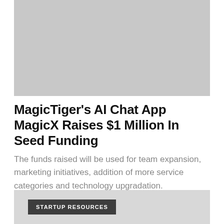[Figure (photo): Gray placeholder image at top of article]
MagicTiger's AI Chat App MagicX Raises $1 Million In Seed Funding
The funds raised will be used for team expansion, marketing initiatives, addition of more service categories and technology upgradation.
STARTUP RESOURCES